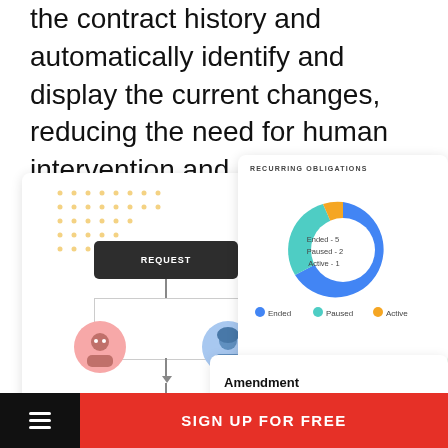the contract history and automatically identify and display the current changes, reducing the need for human intervention and preventing manual errors.
[Figure (screenshot): Screenshot showing a flowchart UI (Request → boxes with avatars → Complete) and a donut chart labeled 'Recurring Obligations' with segments: Ended-5 (blue), Paused-2 (teal), Active-1 (orange), plus an Amendment card below.]
SIGN UP FOR FREE